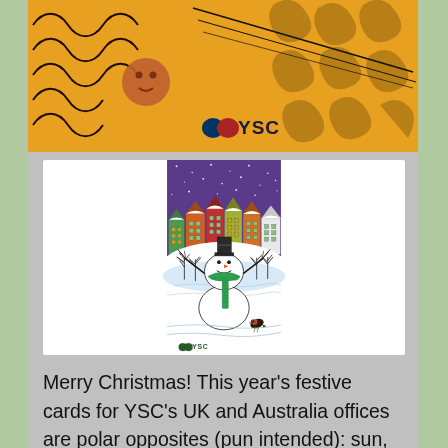[Figure (illustration): Top portion of a Christmas card showing an Australian summer scene with orange/yellow wavy background, a sun, decorative swirls, and the YSC logo in dark text.]
[Figure (illustration): Christmas card illustration showing a snowman with a green scarf and black hat, arms raised, standing in a snowy landscape with colourful houses (green, orange, red, yellow) behind him under a purple night sky with snow falling. A robin bird is in the lower right. The YSC logo appears at the bottom left.]
Merry Christmas! This year's festive cards for YSC's UK and Australia offices are polar opposites (pun intended): sun, sea, sand and surfing for the